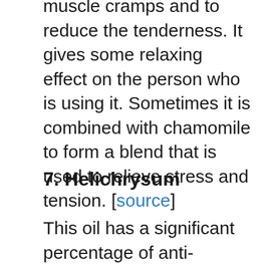muscle cramps and to reduce the tenderness. It gives some relaxing effect on the person who is using it. Sometimes it is combined with chamomile to form a blend that is used to relieve stress and tension. [source]
7. Helichrysum
This oil has a significant percentage of anti-inflammatory compounds known as the sesquiterpene hydrocarbons. It also has some compounds which have a relaxing effect on the muscles, and it can reduce the tension that...